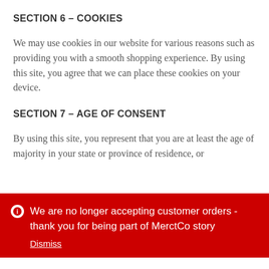SECTION 6 – COOKIES
We may use cookies in our website for various reasons such as providing you with a smooth shopping experience. By using this site, you agree that we can place these cookies on your device.
SECTION 7 – AGE OF CONSENT
By using this site, you represent that you are at least the age of majority in your state or province of residence, or
We are no longer accepting customer orders - thank you for being part of MerctCo story
Dismiss